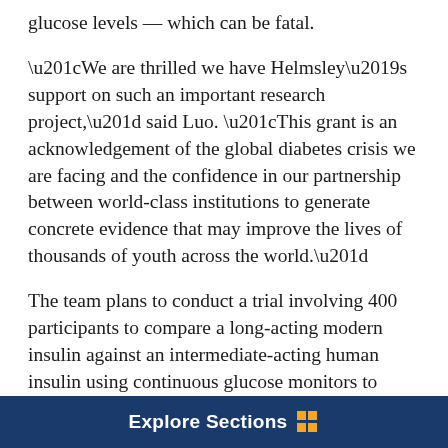glucose levels — which can be fatal.
“We are thrilled we have Helmsley’s support on such an important research project,” said Luo. “This grant is an acknowledgement of the global diabetes crisis we are facing and the confidence in our partnership between world-class institutions to generate concrete evidence that may improve the lives of thousands of youth across the world.”
The team plans to conduct a trial involving 400 participants to compare a long-acting modern insulin against an intermediate-acting human insulin using continuous glucose monitors to measure the time patients are within and below a healthy glucose range. The overall goal is to generate high-quality evidence of the potential clinical benefits and cost-effectiveness of long-
Explore Sections